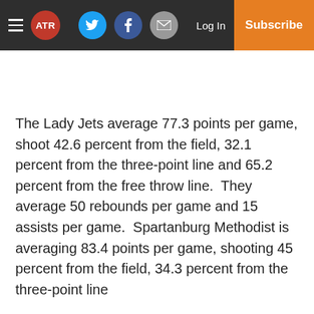ATR — Navigation bar with hamburger menu, ATR logo, Twitter, Facebook, Email icons, Log In, Subscribe
The Lady Jets average 77.3 points per game, shoot 42.6 percent from the field, 32.1 percent from the three-point line and 65.2 percent from the free throw line.  They average 50 rebounds per game and 15 assists per game.  Spartanburg Methodist is averaging 83.4 points per game, shooting 45 percent from the field, 34.3 percent from the three-point line